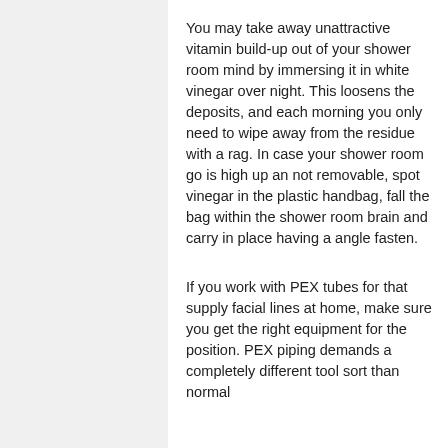You may take away unattractive vitamin build-up out of your shower room mind by immersing it in white vinegar over night. This loosens the deposits, and each morning you only need to wipe away from the residue with a rag. In case your shower room go is high up an not removable, spot vinegar in the plastic handbag, fall the bag within the shower room brain and carry in place having a angle fasten.
If you work with PEX tubes for that supply facial lines at home, make sure you get the right equipment for the position. PEX piping demands a completely different tool sort than normal